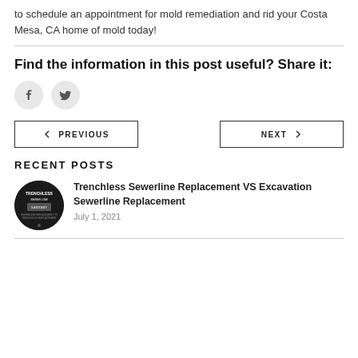to schedule an appointment for mold remediation and rid your Costa Mesa, CA home of mold today!
Find the information in this post useful? Share it:
[Figure (other): Social share buttons: Facebook and Twitter circular icon buttons]
[Figure (other): Navigation buttons: PREVIOUS (left arrow) and NEXT (right arrow) outlined rectangular buttons]
RECENT POSTS
Trenchless Sewerline Replacement VS Excavation Sewerline Replacement
July 1, 2021